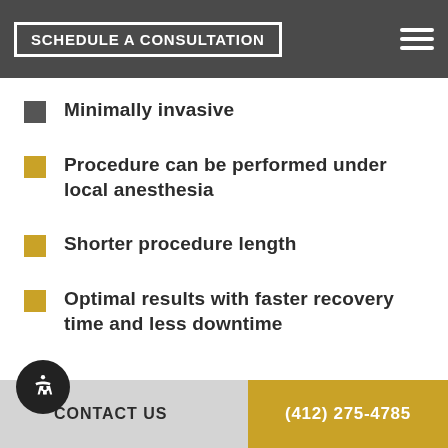SCHEDULE A CONSULTATION
No linear scarring
Minimally invasive
Procedure can be performed under local anesthesia
Shorter procedure length
Optimal results with faster recovery time and less downtime
CONTACT US   (412) 275-4785